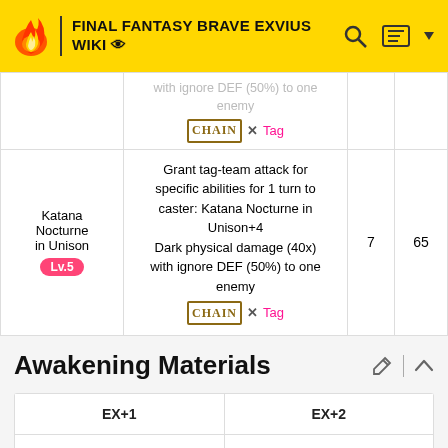FINAL FANTASY BRAVE EXVIUS WIKI
| Name | Effect | MP | Hits |
| --- | --- | --- | --- |
|  | with ignore DEF (50%) to one enemy
Chain X Tag |  |  |
| Katana Nocturne in Unison Lv.5 | Grant tag-team attack for specific abilities for 1 turn to caster: Katana Nocturne in Unison+4
Dark physical damage (40x) with ignore DEF (50%) to one enemy
Chain X Tag | 7 | 65 |
Awakening Materials
| EX+1 | EX+2 |
| --- | --- |
|  |  |